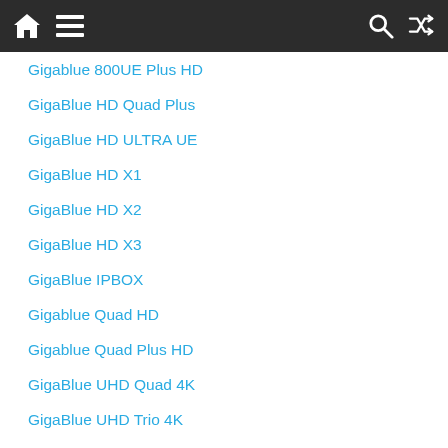Navigation bar with home, menu, search, and shuffle icons
Gigablue 800UE Plus HD
GigaBlue HD Quad Plus
GigaBlue HD ULTRA UE
GigaBlue HD X1
GigaBlue HD X2
GigaBlue HD X3
GigaBlue IPBOX
Gigablue Quad HD
Gigablue Quad Plus HD
GigaBlue UHD Quad 4K
GigaBlue UHD Trio 4K
GigaBlue UHD UE 4K
GigaBlue Ultra SE